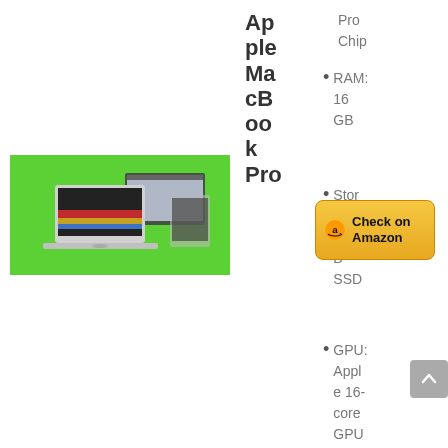[Figure (photo): Apple MacBook Pro laptop displayed on green background]
Apple MacBook Pro
Pro Chip
RAM: 16GB
Storage: 512GB SSD
GPU: Apple 16-core GPU
[Figure (other): Check on Amazon button with Amazon logo]